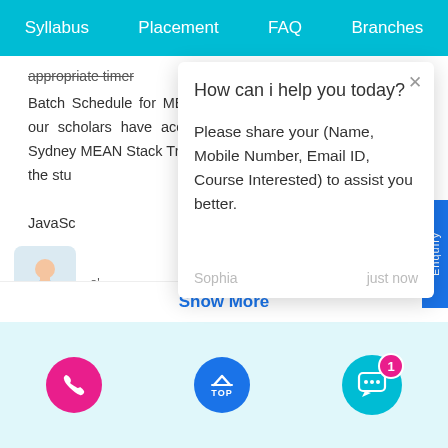Syllabus  Placement  FAQ  Branches
appropriate timer
Batch Schedule for MEAN Stack Training in Sydney All of our scholars have access to ACTE's flexible scheduling. Sydney MEAN Stack Training Plan based on the needs of the students. JavaScript frameworks commonly solve many development o
How can i help you today?
Please share your (Name, Mobile Number, Email ID, Course Interested) to assist you better.
Sophia  just now
Show More
[Figure (screenshot): Chat popup overlay with question 'How can i help you today?' and message 'Please share your (Name, Mobile Number, Email ID, Course Interested) to assist you better.' signed by Sophia just now, with a close X button]
[Figure (screenshot): Bottom navigation toolbar with pink phone button, blue TOP button, and teal chat button with badge showing 1]